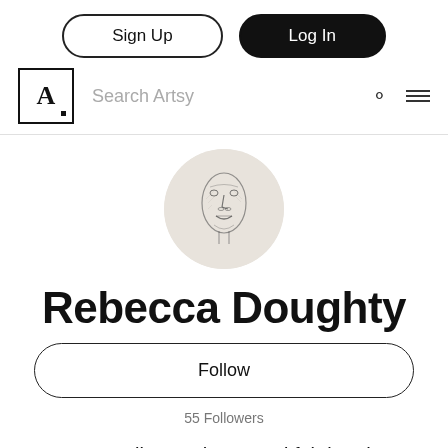Sign Up | Log In
Search Artsy
[Figure (illustration): Circular profile avatar showing a sketch-style illustration of a stylized face with exaggerated features in pencil/ink on light background]
Rebecca Doughty
Follow
55 Followers
See all past shows and fair booths